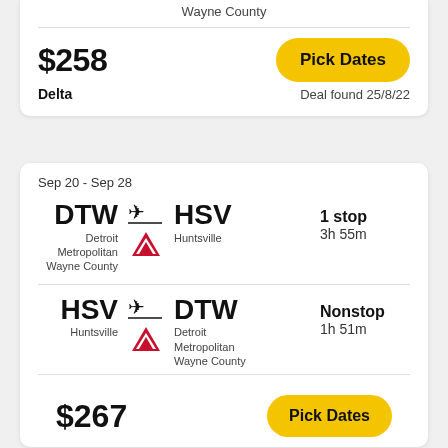Wayne County
$258
Pick Dates
Delta
Deal found 25/8/22
Sep 20 - Sep 28
DTW → HSV
Detroit Metropolitan Wayne County
Huntsville
1 stop
3h 55m
HSV → DTW
Huntsville
Detroit Metropolitan Wayne County
Nonstop
1h 51m
$267
Pick Dates